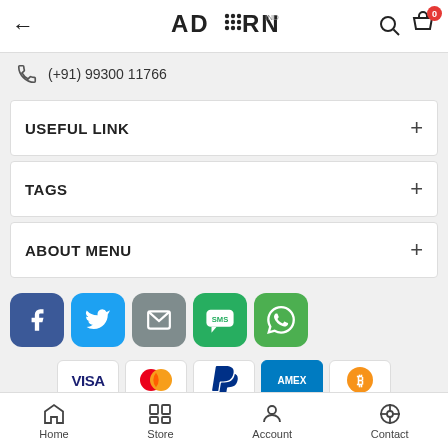← ADORN INDIA (logo) [search icon] [cart icon with badge 0]
(+91) 99300 11766
USEFUL LINK +
TAGS +
ABOUT MENU +
[Figure (infographic): Row of 5 social media icon buttons: Facebook (blue), Twitter (light blue), Email/Mail (grey), SMS (green), WhatsApp (green)]
[Figure (infographic): Row of 5 payment method icons: VISA, Mastercard, PayPal, AMEX, Bitcoin]
© 2022 ADORN INDIA
Home | Store | Account | Contact